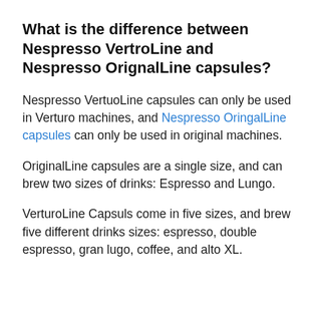What is the difference between Nespresso VertroLine and Nespresso OrignalLine capsules?
Nespresso VertuoLine capsules can only be used in Verturo machines, and Nespresso OringalLine capsules can only be used in original machines.
OriginalLine capsules are a single size, and can brew two sizes of drinks: Espresso and Lungo.
VerturoLine Capsuls come in five sizes, and brew five different drinks sizes: espresso, double espresso, gran lugo, coffee, and alto XL.